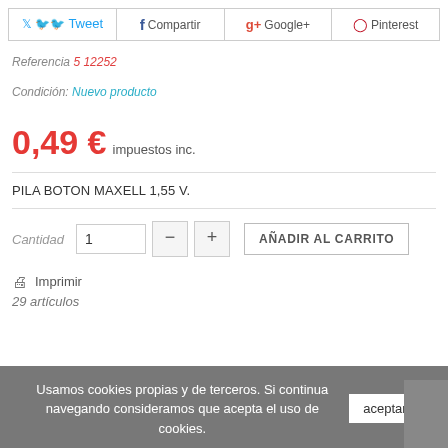[Figure (screenshot): Social share buttons: Tweet, Compartir, Google+, Pinterest]
Referencia 5 12252
Condición: Nuevo producto
0,49 € impuestos inc.
PILA BOTON MAXELL 1,55 V.
Cantidad 1 — + AÑADIR AL CARRITO
Imprimir
29 artículos
Usamos cookies propias y de terceros. Si continua navegando consideramos que acepta el uso de cookies.